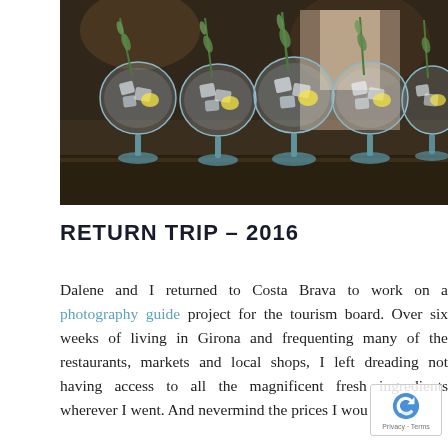[Figure (photo): Five large balloon gin glasses with ice, lemon, and rosemary garnishes on a bar counter, with a bartender visible in the background]
RETURN TRIP – 2016
Dalene and I returned to Costa Brava to work on a photography guide project for the tourism board. Over six weeks of living in Girona and frequenting many of the restaurants, markets and local shops, I left dreading not having access to all the magnificent fresh ingredients wherever I went. And nevermind the prices I would